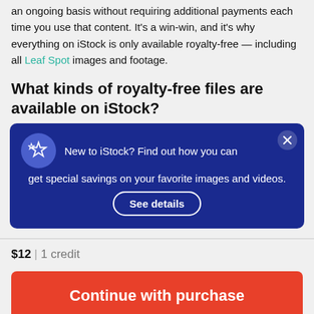an ongoing basis without requiring additional payments each time you use that content. It's a win-win, and it's why everything on iStock is only available royalty-free — including all Leaf Spot images and footage.
What kinds of royalty-free files are available on iStock?
[Figure (infographic): Dark blue promotional banner with star icon. Text: 'New to iStock? Find out how you can get special savings on your favorite images and videos.' with a 'See details' button and a close (X) button.]
$12 | 1 credit
Continue with purchase